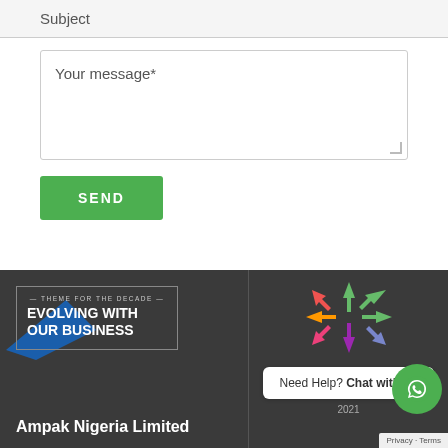Subject
Your message*
SEND
[Figure (logo): Theme for the decade logo box: EVOLVING WITH OUR BUSINESS with blue arrow graphic]
[Figure (illustration): Colorful arrows pointing in multiple directions (diversity/directions icon)]
Need Help? Chat with us
2021
Ampak Nigeria Limited
Privacy - Terms